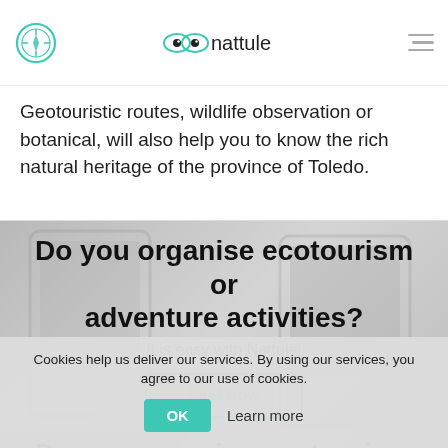nattule
Geotouristic routes, wildlife observation or botanical, will also help you to know the rich natural heritage of the province of Toledo.
[Figure (screenshot): Banner section with blurred background showing GPS/navigation device. Contains promotional text and button.]
Do you organise ecotourism or adventure activities?
It is easy with Nattule!
Find how
[Figure (screenshot): Second banner section with blurred background, partially visible, showing repeated promotional text.]
Do you organise ecotourism or adventure activities?
Cookies help us deliver our services. By using our services, you agree to our use of cookies.
OK  Learn more